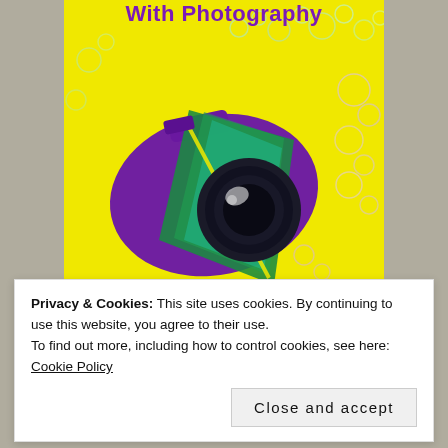[Figure (illustration): Book cover with bright yellow background, colorful DSLR camera illustration with purple, green and teal colors, bubbles scattered around, and title text 'With Photography' in bold purple at the top]
Privacy & Cookies: This site uses cookies. By continuing to use this website, you agree to their use.
To find out more, including how to control cookies, see here: Cookie Policy
Close and accept